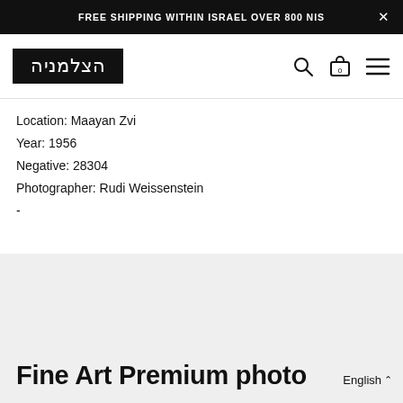FREE SHIPPING WITHIN ISRAEL OVER 800 NIS
[Figure (logo): Hatzalmania store logo - Hebrew text in white on black background inside a bordered box]
Location: Maayan Zvi
Year: 1956
Negative: 28304
Photographer: Rudi Weissenstein
-
Fine Art Premium photo